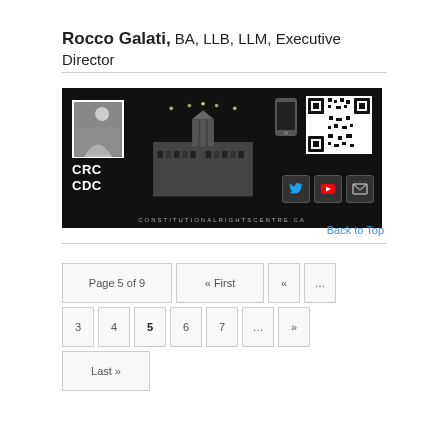Rocco Galati, BA, LLB, LLM, Executive Director
[Figure (logo): CRC CDC Constitutional Rights Centre banner with parliament building silhouette, QR code, social media icons, and URL constitutionalrightscentre.ca]
Back to Top
Page 5 of 9  « First  «  ...  3  4  5  6  7  ...  »  Last »